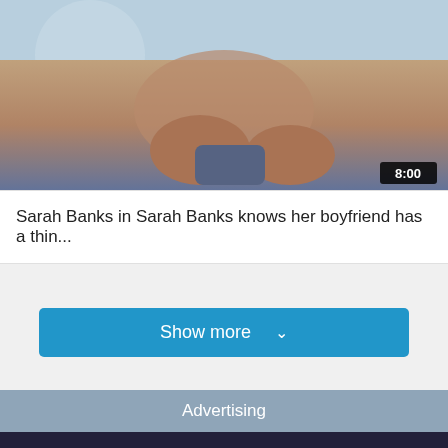[Figure (photo): Video thumbnail showing close-up skin tones with a duration badge showing 8:00 in bottom right corner]
Sarah Banks in Sarah Banks knows her boyfriend has a thin...
Show more ∨
Advertising
[Figure (photo): Photo of a young woman with green-highlighted hair smiling in an indoor arcade/entertainment venue setting]